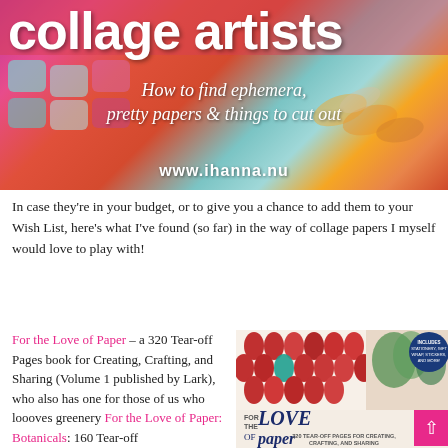[Figure (photo): Banner image for collage artists blog post showing colorful collage artwork background with text overlay: 'collage artists', 'How to find ephemera, pretty papers & things to cut out', 'www.ihanna.nu']
In case they're in your budget, or to give you a chance to add them to your Wish List, here's what I've found (so far) in the way of collage papers I myself would love to play with!
For the Love of Paper – a 320 Tear-off Pages book for Creating, Crafting, and Sharing (Volume 1 published by Lark), who also has one for those of us who loooves greenery For the Love of Paper: Botanicals: 160 Tear-off
[Figure (photo): Book cover of 'For the Love of Paper' - 320 Tear-Off Pages for Creating, Crafting, and Sharing, showing decorative drop/teardrop patterns in red and teal, with floral elements and navy title text]